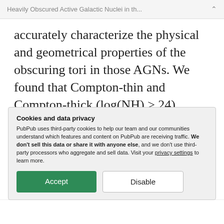Heavily Obscured Active Galactic Nuclei in th...
accurately characterize the physical and geometrical properties of the obscuring tori in those AGNs. We found that Compton-thin and Compton-thick (log(NH) > 24) AGNs may possess similar tori, whose average column density is Compton thick (log(NH,Tor) ~ 24.15), but they are observed through different
Cookies and data privacy
PubPub uses third-party cookies to help our team and our communities understand which features and content on PubPub are receiving traffic. We don't sell this data or share it with anyone else, and we don't use third-party processors who aggregate and sell data. Visit your privacy settings to learn more.